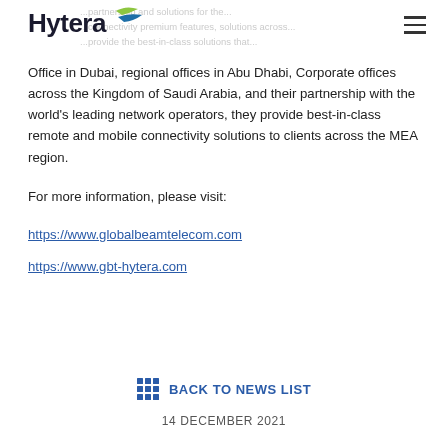Hytera
Office in Dubai, regional offices in Abu Dhabi, Corporate offices across the Kingdom of Saudi Arabia, and their partnership with the world's leading network operators, they provide best-in-class remote and mobile connectivity solutions to clients across the MEA region.
For more information, please visit:
https://www.globalbeamtelecom.com
https://www.gbt-hytera.com
BACK TO NEWS LIST
14 DECEMBER 2021